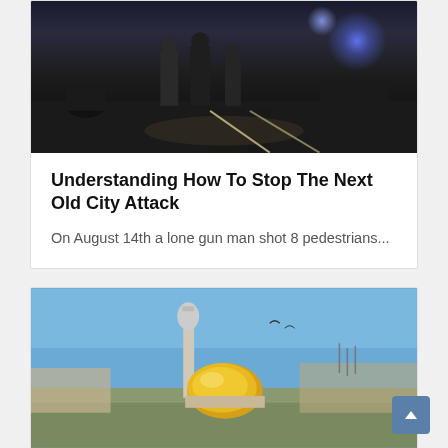[Figure (photo): Night scene with armed security personnel standing on a road, with blue police lights and vehicles visible in the background]
Understanding How To Stop The Next Old City Attack
On August 14th a lone gun man shot 8 pedestrians...
[Figure (photo): Daytime view of the Dome of the Rock (golden dome) and a minaret in Jerusalem's Old City, with clear blue sky and surrounding buildings]